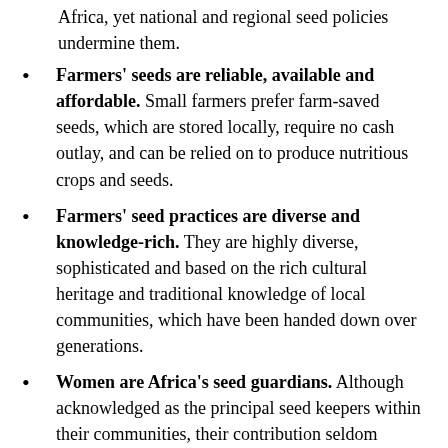Africa, yet national and regional seed policies undermine them.
Farmers' seeds are reliable, available and affordable. Small farmers prefer farm-saved seeds, which are stored locally, require no cash outlay, and can be relied on to produce nutritious crops and seeds.
Farmers' seed practices are diverse and knowledge-rich. They are highly diverse, sophisticated and based on the rich cultural heritage and traditional knowledge of local communities, which have been handed down over generations.
Women are Africa's seed guardians. Although acknowledged as the principal seed keepers within their communities, their contribution seldom receives official recognition and support.
Farmer-managed seed systems underpin small-scale agroecological production and food sovereignty. Farmer's diverse, ecologically resilient seeds are appropriate for biodiverse, agroecological food